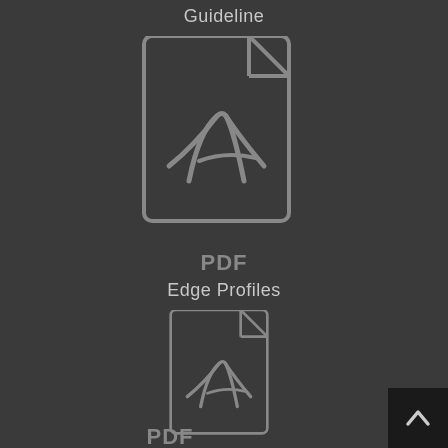Guideline
[Figure (illustration): PDF file icon with folded corner and Adobe Acrobat logo (stylized A) in grey on dark background]
PDF
Edge Profiles
[Figure (illustration): PDF file icon with folded corner and Adobe Acrobat logo (stylized A) in grey on dark background, partially visible]
PDF